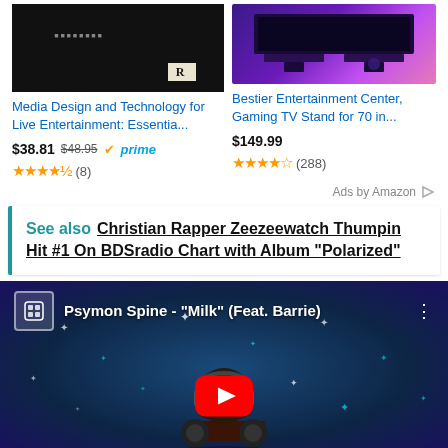[Figure (screenshot): Amazon ad: book cover for 'Media Design and Technology for Live Entertainment: Essentia...' priced $38.81, was $48.95, Prime eligible, 4.5 stars (8 reviews)]
[Figure (screenshot): Amazon ad: Bestier Entertainment Center, Gaming TV Stand for 70 in... priced $149.99, 4 stars (288 reviews)]
Ads by Amazon
See also  Christian Rapper Zeezeewatch Thumpin Hit #1 On BDSradio Chart with Album "Polarized"
[Figure (screenshot): YouTube video thumbnail for Psymon Spine - "Milk" (Feat. Barrie) with play button, starry night background with DJ silhouette]